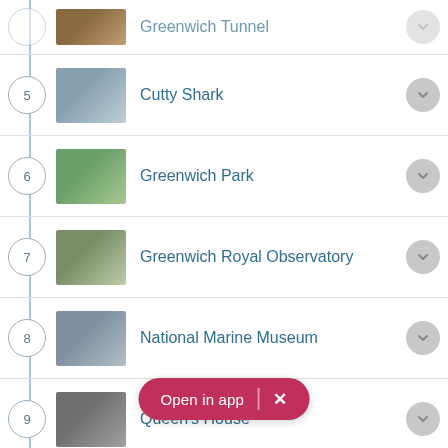5 Cutty Shark
6 Greenwich Park
7 Greenwich Royal Observatory
8 National Marine Museum
9 Queen's House
[Figure (other): Open in app button overlay with pink/red pill shape and X close button]
10 Old Royal Navy College